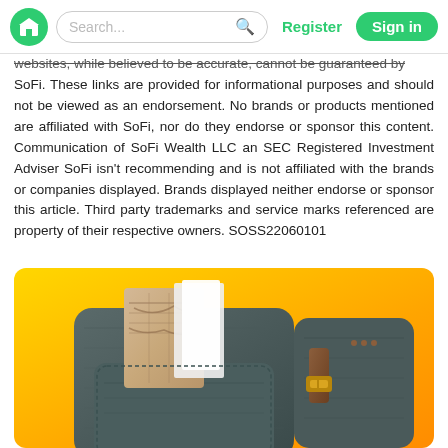Search... Register Sign in
websites, while believed to be accurate, cannot be guaranteed by SoFi. These links are provided for informational purposes and should not be viewed as an endorsement. No brands or products mentioned are affiliated with SoFi, nor do they endorse or sponsor this content. Communication of SoFi Wealth LLC an SEC Registered Investment Adviser SoFi isn't recommending and is not affiliated with the brands or companies displayed. Brands displayed neither endorse or sponsor this article. Third party trademarks and service marks referenced are property of their respective owners. SOSS22060101
[Figure (photo): A backpack with a folded map and papers sticking out of the front pocket, photographed against a bright yellow/orange background.]